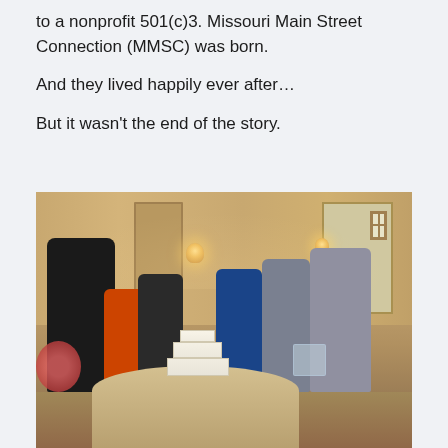to a nonprofit 501(c)3. Missouri Main Street Connection (MMSC) was born.
And they lived happily ever after…
But it wasn't the end of the story.
[Figure (photo): A group of people at an indoor event, gathered around a white tiered cake on a table with a sparkly tablecloth. Several people have their arms raised holding sparklers. The room has warm lighting with wall sconces and wood-paneled walls. People are dressed in formal and semi-formal attire.]